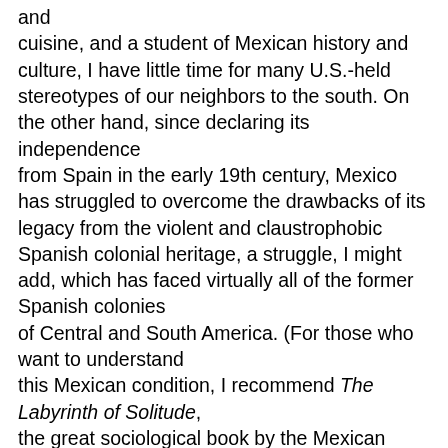and cuisine, and a student of Mexican history and culture, I have little time for many U.S.-held stereotypes of our neighbors to the south. On the other hand, since declaring its independence from Spain in the early 19th century, Mexico has struggled to overcome the drawbacks of its legacy from the violent and claustrophobic Spanish colonial heritage, a struggle, I might add, which has faced virtually all of the former Spanish colonies of Central and South America. (For those who want to understand this Mexican condition, I recommend The Labyrinth of Solitude, the great sociological book by the Mexican author Octavio Paz.) Unlike our long-term relationship with our other continental neighbor, Canada, to the north, our relationship with Mexico has been troubled. Past U.S. governments have interfered in Mexican affairs, and Mexico holds some long-standing claims to parts